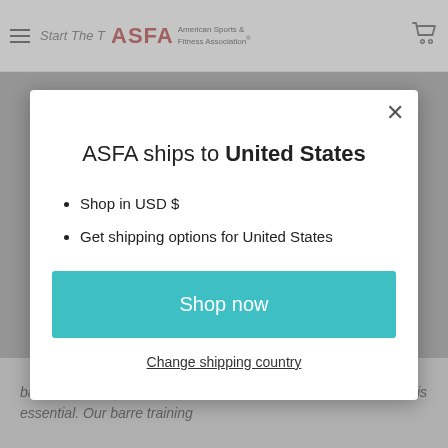ASFA – American Sports & Fitness Association | Start The Training
[Figure (screenshot): Background webpage content showing italic body text about barre teacher training, partially visible behind modal overlay]
ASFA ships to United States
Shop in USD $
Get shipping options for United States
Shop now
Change shipping country